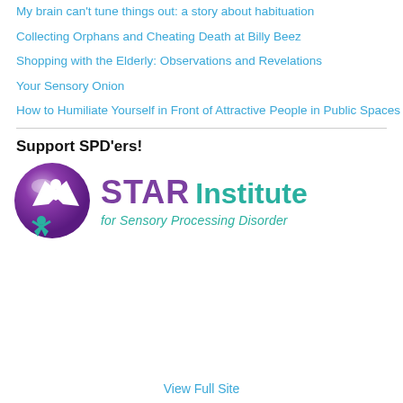My brain can't tune things out: a story about habituation
Collecting Orphans and Cheating Death at Billy Beez
Shopping with the Elderly: Observations and Revelations
Your Sensory Onion
How to Humiliate Yourself in Front of Attractive People in Public Spaces
Support SPD'ers!
[Figure (logo): STAR Institute for Sensory Processing Disorder logo — purple circle with white figure and teal child figure, with STAR in purple bold and Institute in teal bold, subtitle in teal italic]
View Full Site